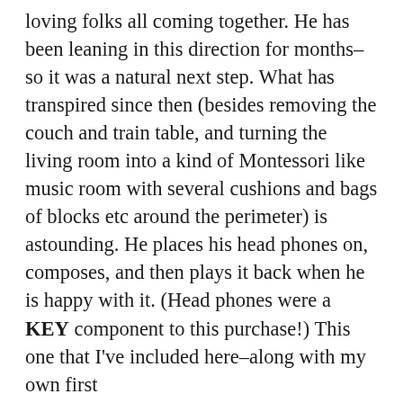loving folks all coming together. He has been leaning in this direction for months–so it was a natural next step. What has transpired since then (besides removing the couch and train table, and turning the living room into a kind of Montessori like music room with several cushions and bags of blocks etc around the perimeter) is astounding. He places his head phones on, composes, and then plays it back when he is happy with it. (Head phones were a KEY component to this purchase!) This one that I've included here–along with my own first